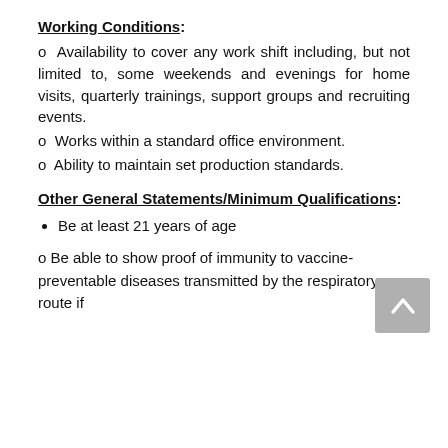Working Conditions:
o Availability to cover any work shift including, but not limited to, some weekends and evenings for home visits, quarterly trainings, support groups and recruiting events.
o Works within a standard office environment.
o Ability to maintain set production standards.
Other General Statements/Minimum Qualifications:
Be at least 21 years of age
o Be able to show proof of immunity to vaccine-preventable diseases transmitted by the respiratory route if